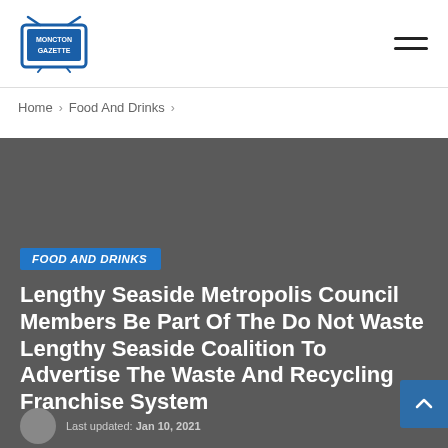Moncton Gazette logo and hamburger menu
Home > Food And Drinks >
[Figure (photo): Dark gray hero image background for article]
FOOD AND DRINKS
Lengthy Seaside Metropolis Council Members Be Part Of The Do Not Waste Lengthy Seaside Coalition To Advertise The Waste And Recycling Franchise System
Last updated: Jan 10, 2021